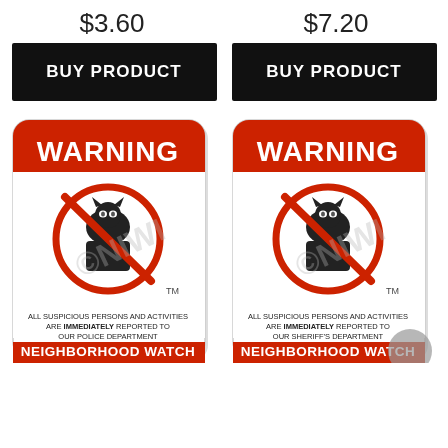$3.60
$7.20
BUY PRODUCT
BUY PRODUCT
[Figure (photo): Neighborhood Watch warning sign - Police Department version with cat burglar no symbol]
[Figure (photo): Neighborhood Watch warning sign - Sheriff's Department version with cat burglar no symbol]